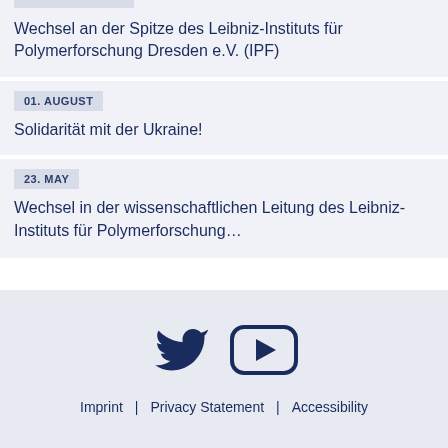Wechsel an der Spitze des Leibniz-Instituts für Polymerforschung Dresden e.V. (IPF)
01. AUGUST
Solidarität mit der Ukraine!
23. MAY
Wechsel in der wissenschaftlichen Leitung des Leibniz-Instituts für Polymerforschung…
[Figure (illustration): Twitter bird icon and YouTube play button icon in dark navy blue]
Imprint | Privacy Statement | Accessibility